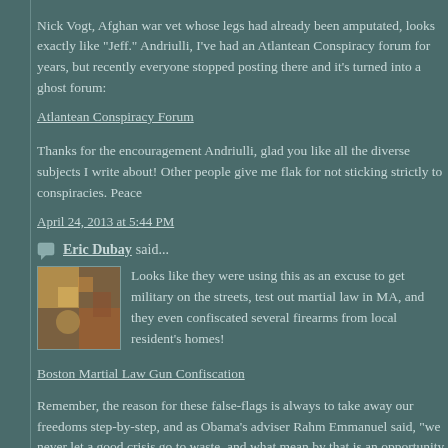Nick Vogt, Afghan war vet whose legs had already been amputated, looks exactly like "Jeff." Andriulli, I've had an Atlantean Conspiracy forum for years, but recently everyone stopped posting there and it's turned into a ghost forum:
Atlantean Conspiracy Forum
Thanks for the encouragement Andriulli, glad you like all the diverse subjects I write about! Other people give me flak for not sticking strictly to conspiracies. Peace
April 24, 2013 at 5:44 PM
Eric Dubay said...
Looks like they were using this as an excuse to get military on the streets, test out martial law in MA, and they even confiscated several firearms from local resident's homes!
Boston Martial Law Gun Confiscation
Remember, the reason for these false-flags is always to take away our freedoms step-by-step, and as Obama's adviser Rahm Emmanuel said, "we never let a good crisis go to waste, and what mean by that is an opportunity to do things you think you could no